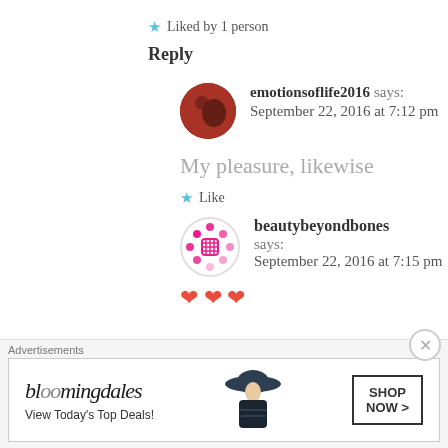★ Liked by 1 person
Reply
emotionsoflife2016 says: September 22, 2016 at 7:12 pm
My pleasure, likewise
★ Like
beautybeyondbones says: September 22, 2016 at 7:15 pm
[Figure (other): Three red heart emoji symbols]
Advertisements
[Figure (other): Bloomingdale's advertisement banner: View Today's Top Deals! SHOP NOW >]